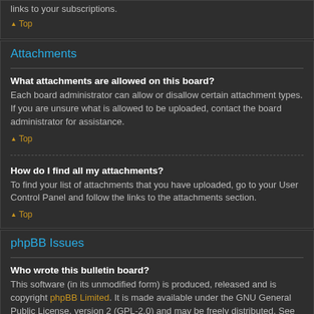links to your subscriptions.
Top
Attachments
What attachments are allowed on this board?
Each board administrator can allow or disallow certain attachment types. If you are unsure what is allowed to be uploaded, contact the board administrator for assistance.
Top
How do I find all my attachments?
To find your list of attachments that you have uploaded, go to your User Control Panel and follow the links to the attachments section.
Top
phpBB Issues
Who wrote this bulletin board?
This software (in its unmodified form) is produced, released and is copyright phpBB Limited. It is made available under the GNU General Public License, version 2 (GPL-2.0) and may be freely distributed. See About phpBB for more details.
Top